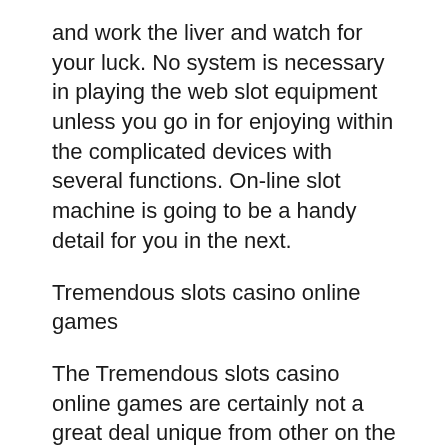and work the liver and watch for your luck. No system is necessary in playing the web slot equipment unless you go in for enjoying within the complicated devices with several functions. On-line slot machine is going to be a handy detail for you in the next.
Tremendous slots casino online games
The Tremendous slots casino online games are certainly not a great deal unique from other on the internet slot machines. Below they consider game titles on slot machine. The super slots game titles are very much progressed technically and are incredibly novel video games. The application for these Tremendous slots casino games is accessible for you and you can enjoy the possess the